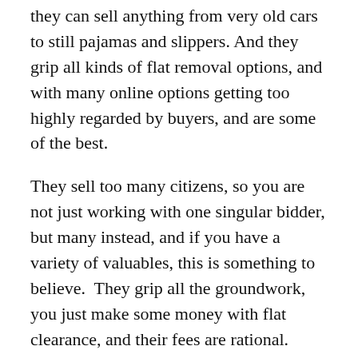they can sell anything from very old cars to still pajamas and slippers. And they grip all kinds of flat removal options, and with many online options getting too highly regarded by buyers, and are some of the best.
They sell too many citizens, so you are not just working with one singular bidder, but many instead, and if you have a variety of valuables, this is something to believe.  They grip all the groundwork, you just make some money with flat clearance, and their fees are rational.
4: Bid doo
This is a sales company that is one of the main since it